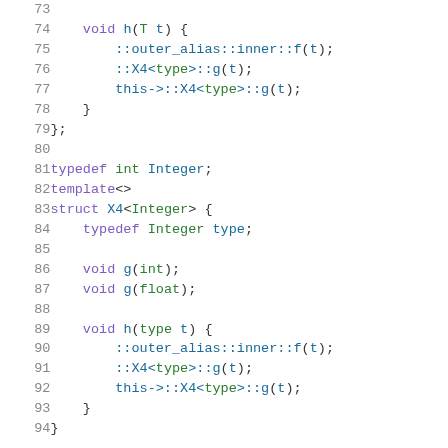Code listing lines 73–93 showing C++ struct template specialization with typedef, void methods g and h, namespace-qualified calls ::outer_alias::inner::f(t), ::X4<type>::g(t), this->::X4<type>::g(t)